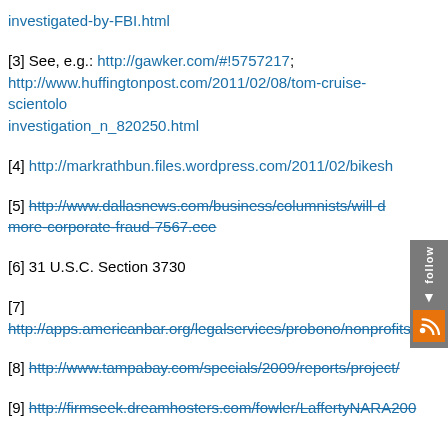investigated-by-FBI.html
[3] See, e.g.: http://gawker.com/#!5757217; http://www.huffingtonpost.com/2011/02/08/tom-cruise-scientolo investigation_n_820250.html
[4] http://markrathbun.files.wordpress.com/2011/02/bikesh
[5] http://www.dallasnews.com/business/columnists/will-d more-corporate-fraud-7567.ece
[6] 31 U.S.C. Section 3730
[7] http://apps.americanbar.org/legalservices/probono/nonprofits
[8] http://www.tampabay.com/specials/2009/reports/project/
[9] http://firmseek.dreamhosters.com/fowler/LaffertyNARA200